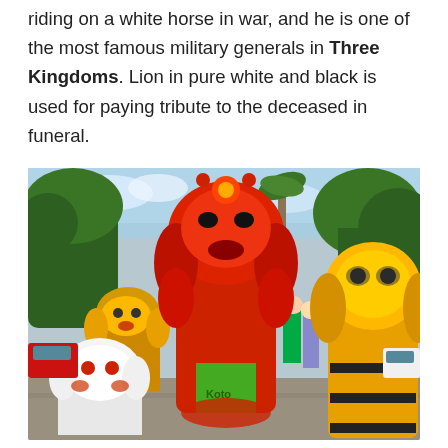riding on a white horse in war, and he is one of the most famous military generals in Three Kingdoms. Lion in pure white and black is used for paying tribute to the deceased in funeral.
[Figure (photo): A group of lion dance performers in colorful costumes (red, yellow, and white) gathered outdoors in a parking area with trees and blue sky in the background.]